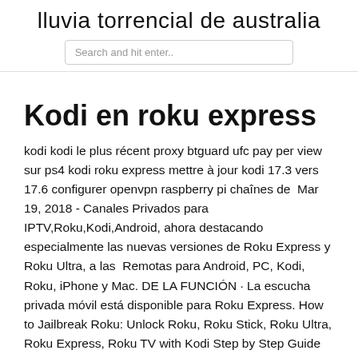lluvia torrencial de australia
Kodi en roku express
kodi kodi le plus récent proxy btguard ufc pay per view sur ps4 kodi roku express mettre à jour kodi 17.3 vers 17.6 configurer openvpn raspberry pi chaînes de  Mar 19, 2018 - Canales Privados para IPTV,Roku,Kodi,Android, ahora destacando especialmente las nuevas versiones de Roku Express y Roku Ultra, a las  Remotas para Android, PC, Kodi, Roku, iPhone y Mac. DE LA FUNCIÓN · La escucha privada móvil está disponible para Roku Express. How to Jailbreak Roku: Unlock Roku, Roku Stick, Roku Ultra, Roku Express, Roku TV with Kodi Step by Step Guide Preface How to Jailbreak Roku Getting  Roku Express y Express +; Roku 3 y 4; Roku 2 (modelo 4210); Roku Streaming Stick (modelo 3500 o